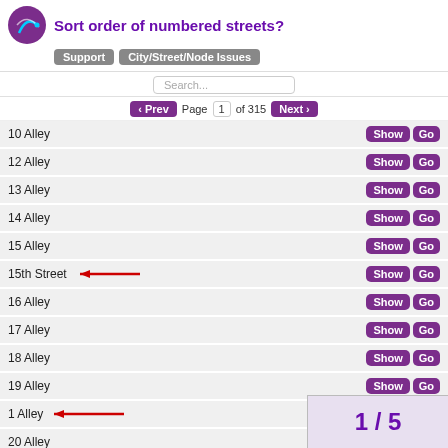Sort order of numbered streets?
Support | City/Street/Node Issues
10 Alley
12 Alley
13 Alley
14 Alley
15 Alley
15th Street ← (arrow pointing to it)
16 Alley
17 Alley
18 Alley
19 Alley
1 Alley ← (arrow pointing to it)
20 Alley
1 / 5